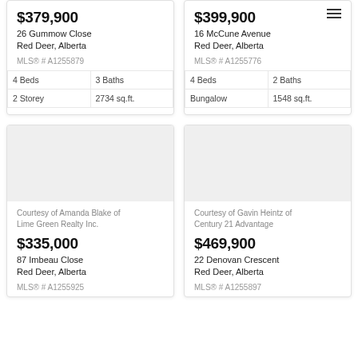$379,900
26 Gummow Close
Red Deer, Alberta
MLS® # A1255879
4 Beds | 3 Baths | 2 Storey | 2734 sq.ft.
$399,900
16 McCune Avenue
Red Deer, Alberta
MLS® # A1255776
4 Beds | 2 Baths | Bungalow | 1548 sq.ft.
[Figure (photo): Property photo placeholder (light grey)]
Courtesy of Amanda Blake of Lime Green Realty Inc.
$335,000
87 Imbeau Close
Red Deer, Alberta
MLS® # A1255925
[Figure (photo): Property photo placeholder (light grey)]
Courtesy of Gavin Heintz of Century 21 Advantage
$469,900
22 Denovan Crescent
Red Deer, Alberta
MLS® # A1255897